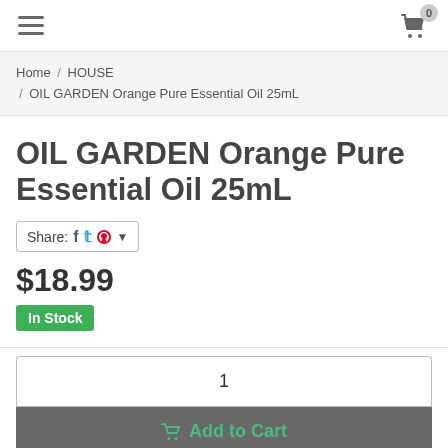Navigation bar with hamburger menu and cart icon (0 items)
Home / HOUSE / OIL GARDEN Orange Pure Essential Oil 25mL
OIL GARDEN Orange Pure Essential Oil 25mL
Share: [Facebook] [Twitter] [Pinterest] ▼
$18.99
In Stock
1
Add to Cart